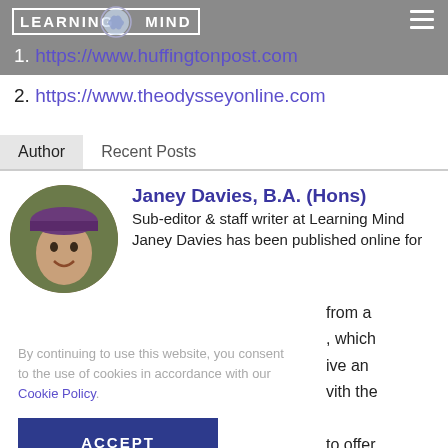Learning Mind
1. https://www.huffingtonpost.com
2. https://www.theodysseyonline.com
Author | Recent Posts
[Figure (photo): Circular profile photo of Janey Davies wearing a purple hat, smiling outdoors]
Janey Davies, B.A. (Hons)
Sub-editor & staff writer at Learning Mind
Janey Davies has been published online for
from a
, which
ive an
vith the

to offer
g with
By continuing to use this website, you consent to the use of cookies in accordance with our Cookie Policy.
ACCEPT